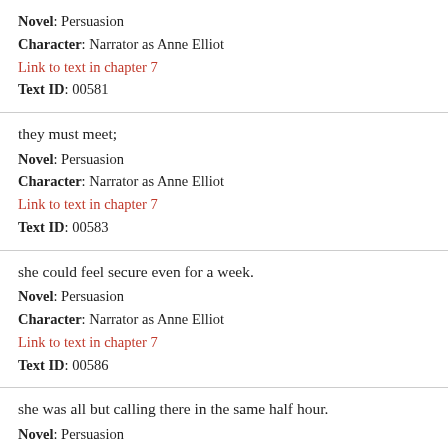Novel: Persuasion
Character: Narrator as Anne Elliot
Link to text in chapter 7
Text ID: 00581
they must meet;
Novel: Persuasion
Character: Narrator as Anne Elliot
Link to text in chapter 7
Text ID: 00583
she could feel secure even for a week.
Novel: Persuasion
Character: Narrator as Anne Elliot
Link to text in chapter 7
Text ID: 00586
she was all but calling there in the same half hour.
Novel: Persuasion
Character: Narrator as Anne Elliot
Link to text in chapter 7
Text ID: 44XX